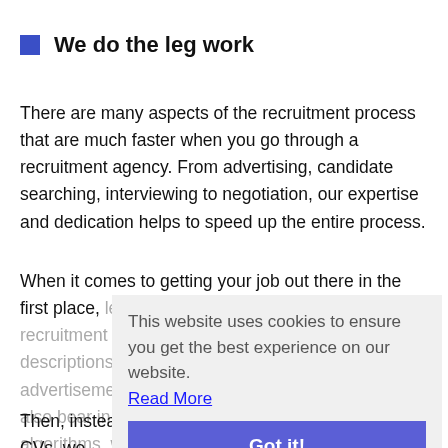We do the leg work
There are many aspects of the recruitment process that are much faster when you go through a recruitment agency. From advertising, candidate searching, interviewing to negotiation, our expertise and dedication helps to speed up the entire process.
When it comes to getting your job out there in the first place, leveraging the skills and knowledge of a recruitment agency is key. We can write job descriptions for you, create targeted job advertisements to attract the right candidates. We also bear in mind the various popular job board algorithms, which determine who and how many candidates get to see your role.
This website uses cookies to ensure you get the best experience on our website. Read More Got it!
Then, instead of sorting through applications and CVs, we